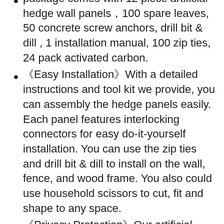package comes with 12 piece artificial hedge wall panels,100 spare leaves, 50 concrete screw anchors, drill bit & dill , 1 installation manual, 100 zip ties, 24 pack activated carbon.
《Easy Installation》With a detailed instructions and tool kit we provide, you can assembly the hedge panels easily. Each panel features interlocking connectors for easy do-it-yourself installation. You can use the zip ties and drill bit & dill to install on the wall, fence, and wood frame. You also could use household scissors to cut, fit and shape to any space.
《Privacy Protection》Our artificial boxwood hedge perfect for privacy, It can be hung on the fence of the